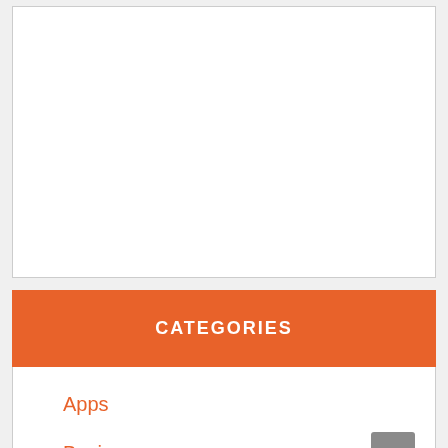[Figure (other): White empty rectangular box with thin gray border]
CATEGORIES
Apps
Business